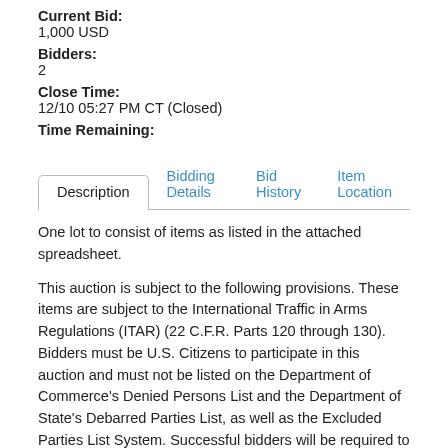Current Bid:
1,000 USD
Bidders:
2
Close Time:
12/10 05:27 PM CT (Closed)
Time Remaining:
Description | Bidding Details | Bid History | Item Location
One lot to consist of items as listed in the attached spreadsheet.
This auction is subject to the following provisions. These items are subject to the International Traffic in Arms Regulations (ITAR) (22 C.F.R. Parts 120 through 130). Bidders must be U.S. Citizens to participate in this auction and must not be listed on the Department of Commerce's Denied Persons List and the Department of State's Debarred Parties List, as well as the Excluded Parties List System. Successful bidders will be required to show a previously